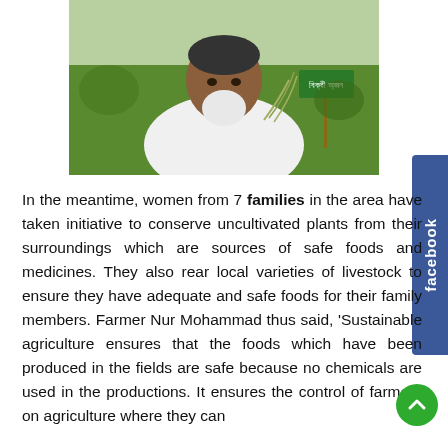[Figure (photo): A man with a white beard wearing a white shirt stands in a green rice field, holding rice stalks. A green sign with Bengali text is visible in the background.]
In the meantime, women from 7 families in the area have taken initiative to conserve uncultivated plants from their surroundings which are sources of safe foods and medicines. They also rear local varieties of livestock to ensure they have adequate and safe foods for their family members. Farmer Nur Mohammad thus said, 'Sustainable agriculture ensures that the foods which have been produced in the fields are safe because no chemicals are used in the productions. It ensures the control of farmers on agriculture where they can